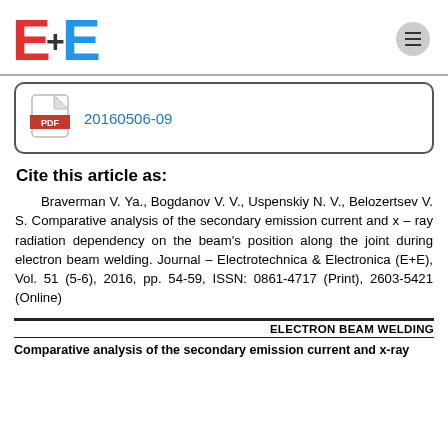E+E (logo)
20160506-09
Cite this article as:
Braverman V. Ya., Bogdanov V. V., Uspenskiy N. V., Belozertsev V. S. Comparative analysis of the secondary emission current and x – ray radiation dependency on the beam's position along the joint during electron beam welding. Journal – Electrotechnica & Electronica (E+E), Vol. 51 (5-6), 2016, pp. 54-59, ISSN: 0861-4717 (Print), 2603-5421 (Online)
ELECTRON BEAM WELDING
Comparative analysis of the secondary emission current and x-ray